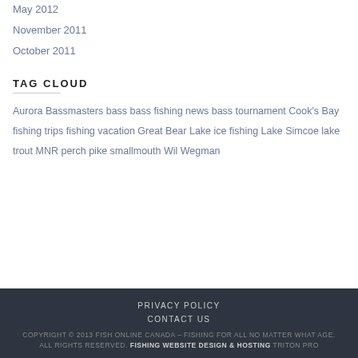May 2012
November 2011
October 2011
TAG CLOUD
Aurora Bassmasters bass bass fishing news bass tournament Cook's Bay fishing trips fishing vacation Great Bear Lake ice fishing Lake Simcoe lake trout MNR perch pike smallmouth Wil Wegman
PRIVACY POLICY
CONTACT US
COPYRIGHT © 2013 FISH ONLINE CANADA – FISHING FOR ALL NO MATTER WHAT AGE. ALL RIGHTS RESERVED. FISHING WEBSITE DESIGN & HOSTING TRITON PRO